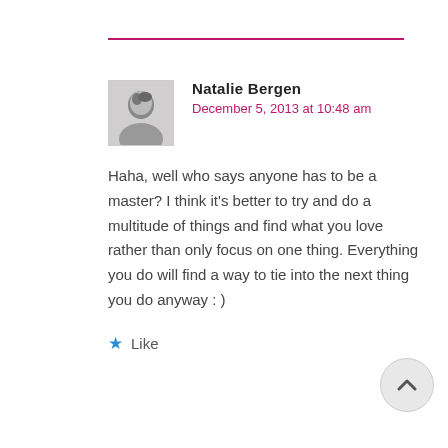Natalie Bergen
December 5, 2013 at 10:48 am
Haha, well who says anyone has to be a master? I think it's better to try and do a multitude of things and find what you love rather than only focus on one thing. Everything you do will find a way to tie into the next thing you do anyway : )
Like